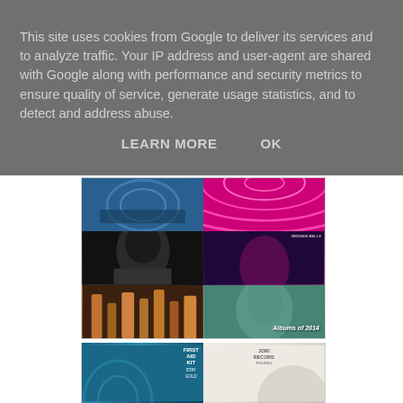This site uses cookies from Google to deliver its services and to analyze traffic. Your IP address and user-agent are shared with Google along with performance and security metrics to ensure quality of service, generate usage statistics, and to detect and address abuse.
LEARN MORE   OK
[Figure (photo): A 2x3 grid of album covers. Top-left: blue/teal psychedelic art. Top-right: magenta/pink concentric circles. Middle-left: black and white close-up portrait. Middle-right: 'Broken Bells' text with dark red/purple figure. Bottom-left: cityscape with bronze/gold structures. Bottom-right: blurry figure with text 'Albums of 2014'.]
[Figure (photo): A 1x2 grid of album covers at the bottom. Left: 'First Aid Kit - Stay Gold' with blue/teal art. Right: 'Jori Record' with light cream/beige art.]